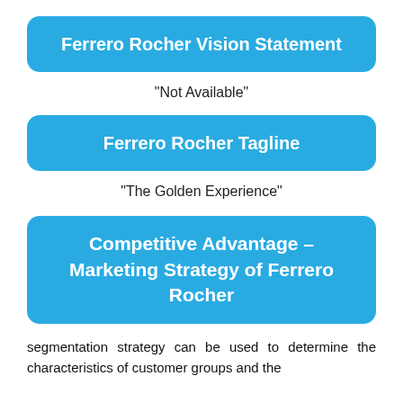Ferrero Rocher Vision Statement
“Not Available”
Ferrero Rocher Tagline
“The Golden Experience”
Competitive Advantage – Marketing Strategy of Ferrero Rocher
segmentation strategy can be used to determine the characteristics of customer groups and the